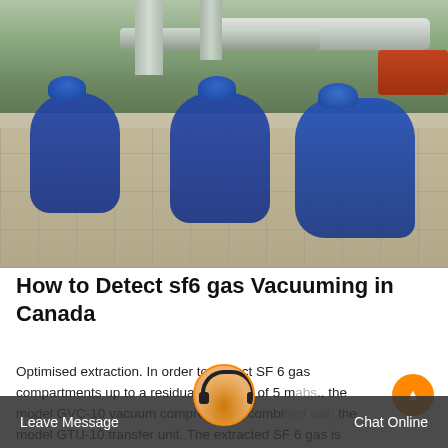[Figure (photo): Workers in blue overalls and helmets crouching on a tiled industrial surface working on SF6 gas equipment, with large grey pipes and red pipe fittings visible in the background.]
How to Detect sf6 gas Vacuuming in Canada
Optimised extraction. In order to extract SF 6 gas compartments up to a residual pressure of 5 m bs., the model GVC-10 vacuum compressor is combi the model GTU-10 transfer unit. The extracted SF 6 gas is pumped into a gas tank at the outlet